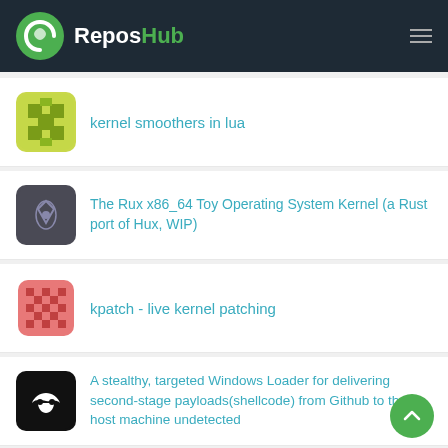ReposHub
kernel smoothers in lua
The Rux x86_64 Toy Operating System Kernel (a Rust port of Hux, WIP)
kpatch - live kernel patching
A stealthy, targeted Windows Loader for delivering second-stage payloads(shellcode) from Github to the host machine undetected
An extremely simple, yet extensible framework to evade AV with...